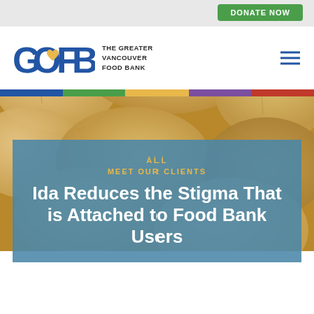[Figure (logo): GOFB – The Greater Vancouver Food Bank logo with heart in the O]
[Figure (photo): Close-up photo of butternut squash and other produce, warm tan/beige tones]
ALL
MEET OUR CLIENTS
Ida Reduces the Stigma That is Attached to Food Bank Users
November 19, 2019